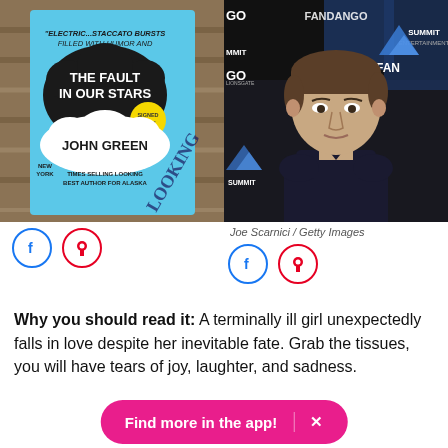[Figure (photo): Book cover of 'The Fault in Our Stars' by John Green — blue cover with black cloud shape and yellow sticker reading 'Signed Copy', placed on wooden surface]
[Figure (photo): Young man (actor Ansel Elgort) at a Fandango/Summit Entertainment event, wearing dark navy sweater, photographed by Joe Scarnici / Getty Images]
Joe Scarnici / Getty Images
Why you should read it: A terminally ill girl unexpectedly falls in love despite her inevitable fate. Grab the tissues, you will have tears of joy, laughter, and sadness.
Find more in the app!